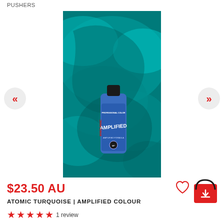PUSHERS
[Figure (photo): Product photo of Manic Panic Amplified hair dye in Atomic Turquoise, shown as a blue bottle against a background of teal/turquoise curly hair.]
$23.50 AU
ATOMIC TURQUOISE | AMPLIFIED COLOUR
★★★★★ 1 review